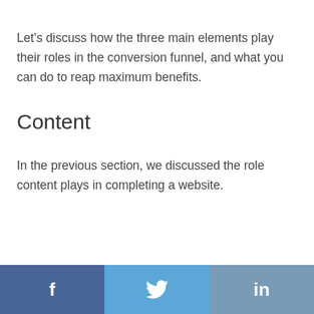Let's discuss how the three main elements play their roles in the conversion funnel, and what you can do to reap maximum benefits.
Content
In the previous section, we discussed the role content plays in completing a website.
Social share icons: Facebook, Twitter, LinkedIn